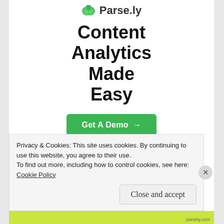[Figure (logo): Parse.ly logo with green leaf icon and bold text 'Parse.ly']
Content Analytics Made Easy
Get A Demo →
[Figure (screenshot): Dashboard screenshot showing a line/area chart with green shading, date filter controls (Today), and a person visible below]
Privacy & Cookies: This site uses cookies. By continuing to use this website, you agree to their use.
To find out more, including how to control cookies, see here: Cookie Policy
Close and accept